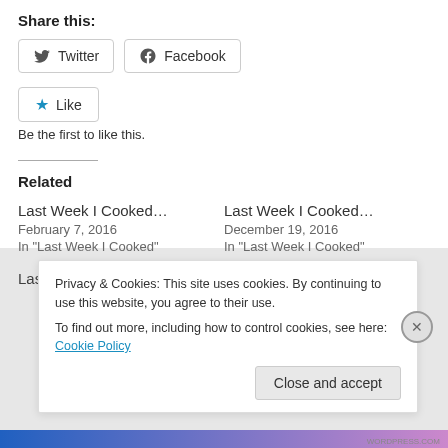Share this:
Twitter  Facebook
Like  Be the first to like this.
Related
Last Week I Cooked…
February 7, 2016
In "Last Week I Cooked"
Last Week I Cooked…
December 19, 2016
In "Last Week I Cooked"
Last Week I Cooked…
Privacy & Cookies: This site uses cookies. By continuing to use this website, you agree to their use.
To find out more, including how to control cookies, see here: Cookie Policy
Close and accept